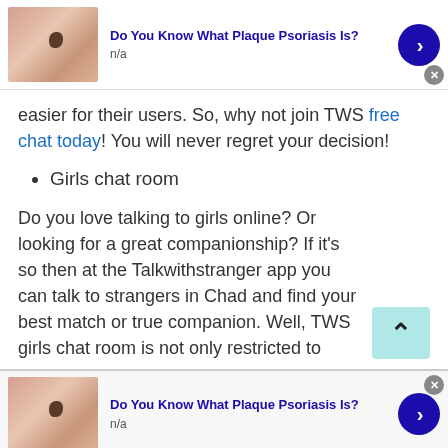[Figure (infographic): Advertisement banner at top: image of skin with mole, bold blue title 'Do You Know What Plaque Psoriasis Is?', subtitle 'n/a', blue circular arrow button, gray X close button]
easier for their users. So, why not join TWS free chat today! You will never regret your decision!
Girls chat room
Do you love talking to girls online? Or looking for a great companionship? If it's so then at the Talkwithstranger app you can talk to strangers in Chad and find your best match or true companion. Well, TWS girls chat room is not only restricted to
[Figure (infographic): Advertisement banner at bottom: image of skin with mole, bold blue title 'Do You Know What Plaque Psoriasis Is?', subtitle 'n/a', blue circular arrow button, gray X close button at top right]